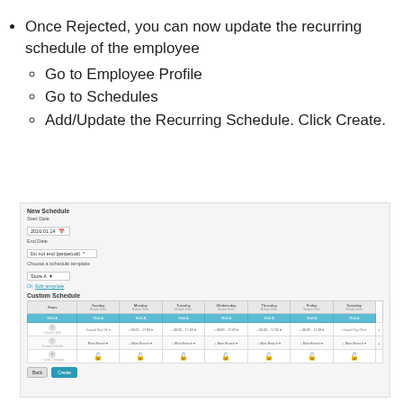Once Rejected, you can now update the recurring schedule of the employee
Go to Employee Profile
Go to Schedules
Add/Update the Recurring Schedule. Click Create.
[Figure (screenshot): Screenshot of New Schedule form showing Start Date (2016.01.14), End Date (Do not end (perpetual)), Choose a schedule template (Store A), an Edit template link, Custom Schedule section with a table showing days of week (Sunday through Saturday) with rows for Step 1 (Choose Shift), Step 2 (Choose Vehicle), Step 3 (Lock Changes), and Back/Create buttons at the bottom.]